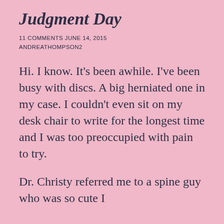Judgment Day
11 COMMENTS JUNE 14, 2015
ANDREATHOMPSON2
Hi. I know. It's been awhile. I've been busy with discs. A big herniated one in my case. I couldn't even sit on my desk chair to write for the longest time and I was too preoccupied with pain to try.
Dr. Christy referred me to a spine guy who was so cute I